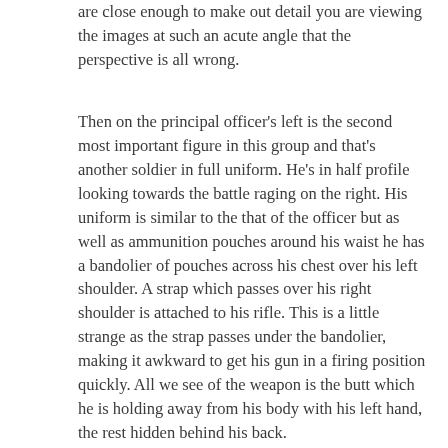are close enough to make out detail you are viewing the images at such an acute angle that the perspective is all wrong.
Then on the principal officer's left is the second most important figure in this group and that's another soldier in full uniform. He's in half profile looking towards the battle raging on the right. His uniform is similar to the that of the officer but as well as ammunition pouches around his waist he has a bandolier of pouches across his chest over his left shoulder. A strap which passes over his right shoulder is attached to his rifle. This is a little strange as the strap passes under the bandolier, making it awkward to get his gun in a firing position quickly. All we see of the weapon is the butt which he is holding away from his body with his left hand, the rest hidden behind his back.
The final figure in this group is on its extreme right. This is another male Partisan in uniform. It's possible to see the left hand side of his body but he doesn't appear to be armed and I can't work out his role in the group. He just seems to be standing there, with his arms hanging down by the side of his body. I work on the basis that all the images on these lapidars are there for a purpose but there are a few here whose role is opaque, to say the least.